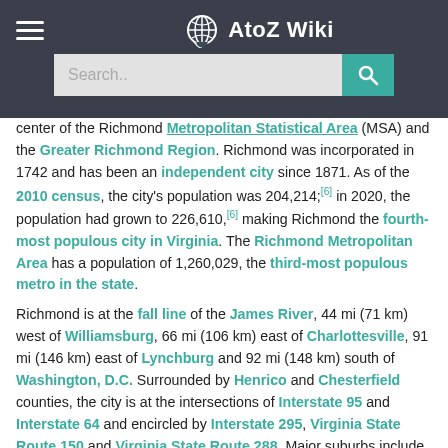AtoZ Wiki
center of the Richmond Metropolitan Statistical Area (MSA) and the Greater Richmond Region. Richmond was incorporated in 1742 and has been an independent city since 1871. As of the 2010 census, the city's population was 204,214;[6] in 2020, the population had grown to 226,610,[6] making Richmond the fourth-most populous city in Virginia. The Richmond Metropolitan Area has a population of 1,260,029, the third-most populous metro in the state.
Richmond is at the fall line of the James River, 44 mi (71 km) west of Williamsburg, 66 mi (106 km) east of Charlottesville, 91 mi (146 km) east of Lynchburg and 92 mi (148 km) south of Washington, D.C. Surrounded by Henrico and Chesterfield counties, the city is at the intersections of Interstate 95 and Interstate 64 and encircled by Interstate 295, Virginia State Route 150 and Virginia State Route 288. Major suburbs include Midlothian to the southwest, Chesterfield to the south